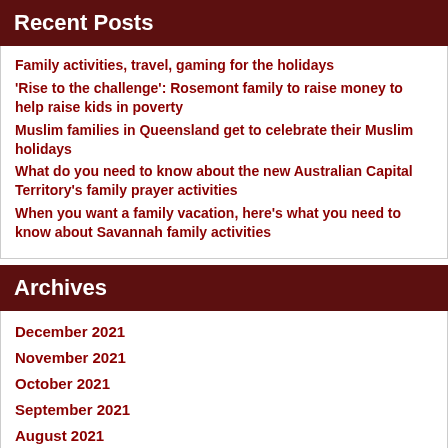Recent Posts
Family activities, travel, gaming for the holidays
'Rise to the challenge': Rosemont family to raise money to help raise kids in poverty
Muslim families in Queensland get to celebrate their Muslim holidays
What do you need to know about the new Australian Capital Territory's family prayer activities
When you want a family vacation, here's what you need to know about Savannah family activities
Archives
December 2021
November 2021
October 2021
September 2021
August 2021
July 2021
June 2021
Categories